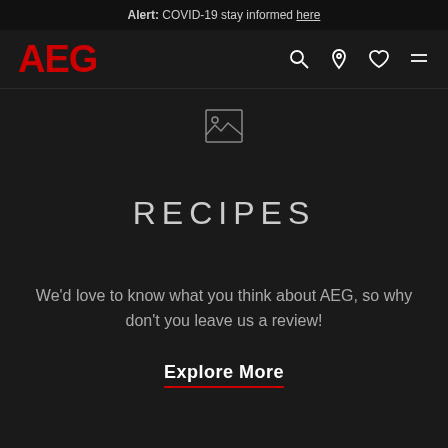Alert: COVID-19 stay informed here
[Figure (logo): AEG logo in red bold text, navigation icons: search, location pin, heart, hamburger menu]
[Figure (other): Image placeholder icon (mountain/landscape inside a square frame)]
RECIPES
We'd love to know what you think about AEG, so why don't you leave us a review!
Explore More